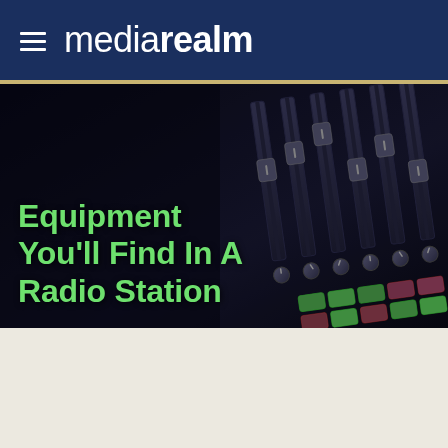mediarealm
[Figure (photo): Close-up of a professional audio mixing console / broadcast desk with illuminated faders, knobs, and lit buttons in green and red/pink, dark background, radio station equipment]
Equipment You'll Find In A Radio Station